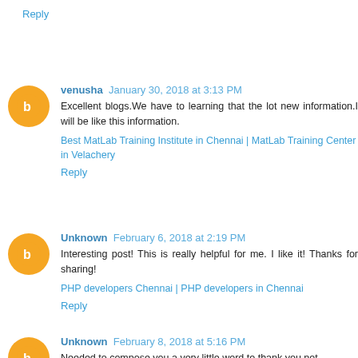Reply
venusha January 30, 2018 at 3:13 PM
Excellent blogs.We have to learning that the lot new information.I will be like this information.
Best MatLab Training Institute in Chennai | MatLab Training Center in Velachery
Reply
Unknown February 6, 2018 at 2:19 PM
Interesting post! This is really helpful for me. I like it! Thanks for sharing!
PHP developers Chennai | PHP developers in Chennai
Reply
Unknown February 8, 2018 at 5:16 PM
Needed to compose you a very little word to thank you not...